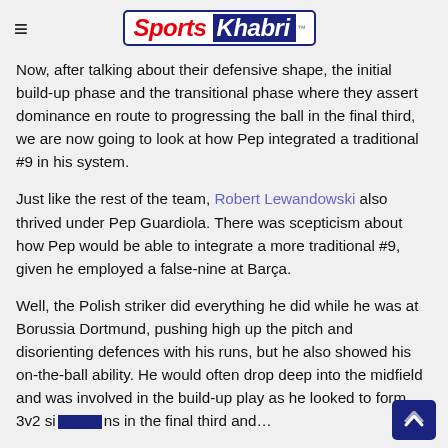Sports Khabri (logo)
Now, after talking about their defensive shape, the initial build-up phase and the transitional phase where they assert dominance en route to progressing the ball in the final third, we are now going to look at how Pep integrated a traditional #9 in his system.
Just like the rest of the team, Robert Lewandowski also thrived under Pep Guardiola. There was scepticism about how Pep would be able to integrate a more traditional #9, given he employed a false-nine at Barça.
Well, the Polish striker did everything he did while he was at Borussia Dortmund, pushing high up the pitch and disorienting defences with his runs, but he also showed his on-the-ball ability. He would often drop deep into the midfield and was involved in the build-up play as he looked to form 3v2 si…ns in the final third and…